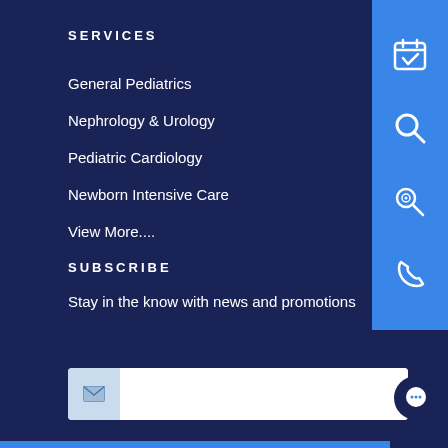SERVICES
General Pediatrics
Nephrology & Urology
Pediatric Cardiology
Newborn Intensive Care
View More....
SUBSCRIBE
Stay in the know with news and promotions
[Figure (screenshot): Email subscription input field with envelope icon on left and white text input area on right]
[Figure (infographic): Blue right sidebar with four white icons: calendar/checkmark, search, location search, and phone icons]